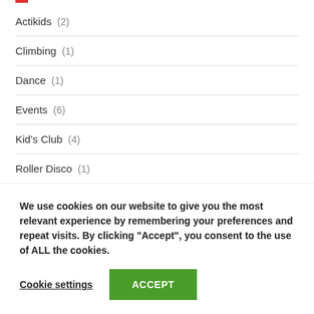Actikids (2)
Climbing (1)
Dance (1)
Events (6)
Kid's Club (4)
Roller Disco (1)
Uncategorized (48)
We use cookies on our website to give you the most relevant experience by remembering your preferences and repeat visits. By clicking “Accept”, you consent to the use of ALL the cookies.
Cookie settings
ACCEPT